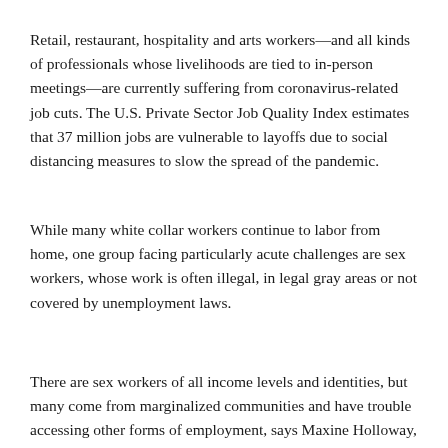Retail, restaurant, hospitality and arts workers—and all kinds of professionals whose livelihoods are tied to in-person meetings—are currently suffering from coronavirus-related job cuts. The U.S. Private Sector Job Quality Index estimates that 37 million jobs are vulnerable to layoffs due to social distancing measures to slow the spread of the pandemic.
While many white collar workers continue to labor from home, one group facing particularly acute challenges are sex workers, whose work is often illegal, in legal gray areas or not covered by unemployment laws.
There are sex workers of all income levels and identities, but many come from marginalized communities and have trouble accessing other forms of employment, says Maxine Holloway, co-founder of